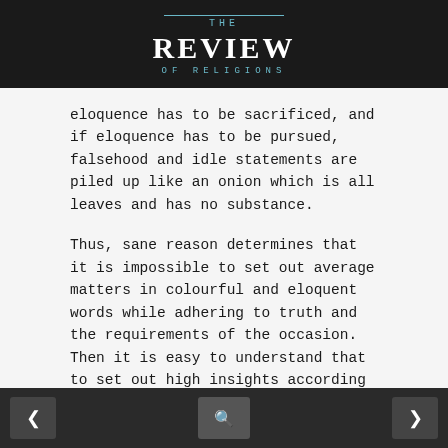THE REVIEW OF RELIGIONS
eloquence has to be sacrificed, and if eloquence has to be pursued, falsehood and idle statements are piled up like an onion which is all leaves and has no substance.
Thus, sane reason determines that it is impossible to set out average matters in colourful and eloquent words while adhering to truth and the requirements of the occasion. Then it is easy to understand that to set out high insights according to the requirements of truth in colourful and eloquent language, better than which cannot be imagined, is a supernatural task which is beyond human power and is as impossible of
< [search icon] >